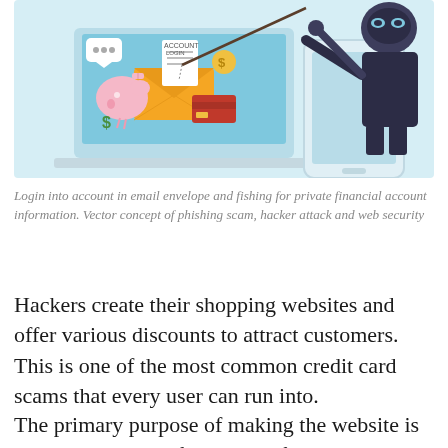[Figure (illustration): Illustration showing a hacker in a black mask and outfit using a fishing rod to hook financial items (piggy bank, credit card, dollar bills, envelope with account login) from a laptop screen and a smartphone screen. Light blue background. Depicts phishing and web security concept.]
Login into account in email envelope and fishing for private financial account information. Vector concept of phishing scam, hacker attack and web security
Hackers create their shopping websites and offer various discounts to attract customers. This is one of the most common credit card scams that every user can run into.
The primary purpose of making the website is to hack the card information of online